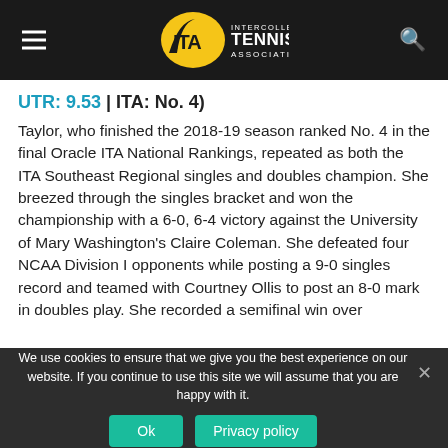ITA - Intercollegiate Tennis Association
UTR: 9.53 | ITA: No. 4)
Taylor, who finished the 2018-19 season ranked No. 4 in the final Oracle ITA National Rankings, repeated as both the ITA Southeast Regional singles and doubles champion. She breezed through the singles bracket and won the championship with a 6-0, 6-4 victory against the University of Mary Washington's Claire Coleman. She defeated four NCAA Division I opponents while posting a 9-0 singles record and teamed with Courtney Ollis to post an 8-0 mark in doubles play. She recorded a semifinal win over
We use cookies to ensure that we give you the best experience on our website. If you continue to use this site we will assume that you are happy with it.